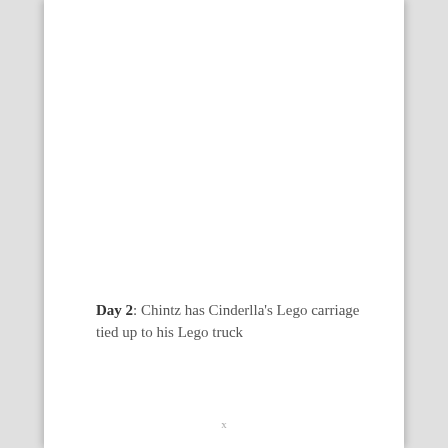Day 2: Chintz has Cinderlla's Lego carriage tied up to his Lego truck
x